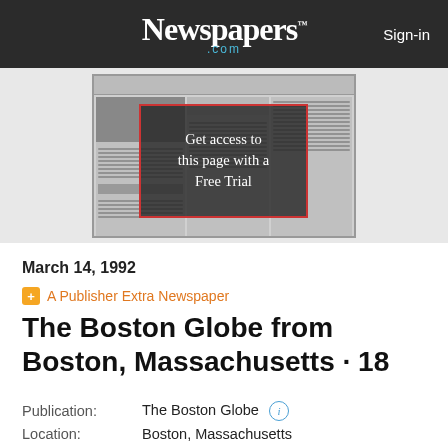Newspapers.com  Sign-in
[Figure (screenshot): Blurred/paywalled newspaper page preview thumbnail with a red-bordered overlay box reading 'Get access to this page with a Free Trial']
March 14, 1992
A Publisher Extra Newspaper
The Boston Globe from Boston, Massachusetts · 18
Publication:  The Boston Globe
Location:  Boston, Massachusetts